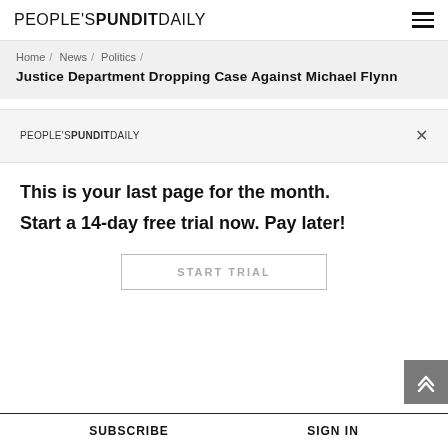PEOPLE'S PUNDIT DAILY
Home / News / Politics /
Justice Department Dropping Case Against Michael Flynn
[Figure (logo): People's Pundit Daily logo in popup bar with close X button]
This is your last page for the month.
Start a 14-day free trial now. Pay later!
START TRIAL
SUBSCRIBE   SIGN IN